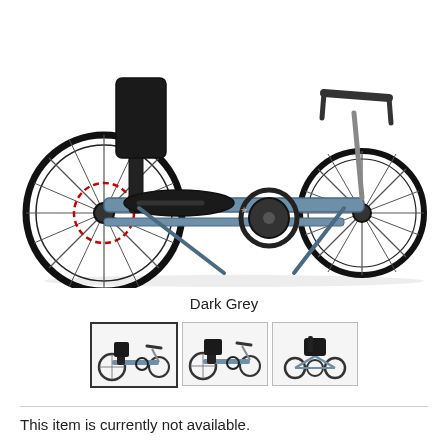[Figure (photo): A recumbent tricycle with two rear wheels and one front wheel, steel frame in dark grey/blue-grey, with a low reclined seat, handlebars, and disc brakes. Photographed from the side on a white background.]
Dark Grey
[Figure (photo): Three thumbnail images of the same recumbent tricycle: side view (selected, with border), side view from slightly different angle, and front/rear view.]
This item is currently not available.